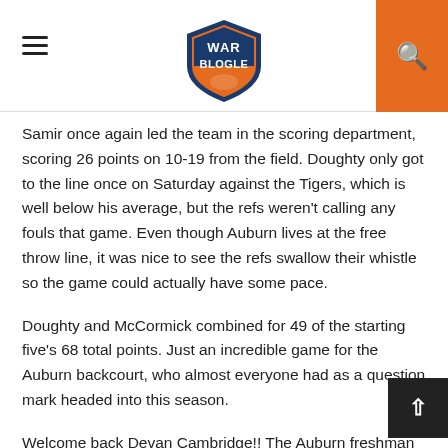War Blogle
Samir once again led the team in the scoring department, scoring 26 points on 10-19 from the field. Doughty only got to the line once on Saturday against the Tigers, which is well below his average, but the refs weren't calling any fouls that game. Even though Auburn lives at the free throw line, it was nice to see the refs swallow their whistle so the game could actually have some pace.
Doughty and McCormick combined for 49 of the starting five's 68 total points. Just an incredible game for the Auburn backcourt, who almost everyone had as a question mark headed into this season.
Welcome back Devan Cambridge!! The Auburn freshman had 21 points off the bench Saturday on 7-11 from downtown. Devan really was the one that kept us in the